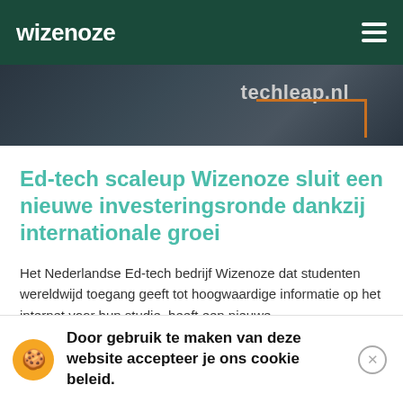wizenoze
[Figure (screenshot): Dark banner image showing partial text 'techleap.nl' with an orange bracket/frame graphic element on a dark background]
Ed-tech scaleup Wizenoze sluit een nieuwe investeringsronde dankzij internationale groei
Het Nederlandse Ed-tech bedrijf Wizenoze dat studenten wereldwijd toegang geeft tot hoogwaardige informatie op het internet voor hun studie, heeft een nieuwe financieringsronde gesloten. Wizenoze heeft een aanzienlijke
Door gebruik te maken van deze website accepteer je ons cookie beleid.